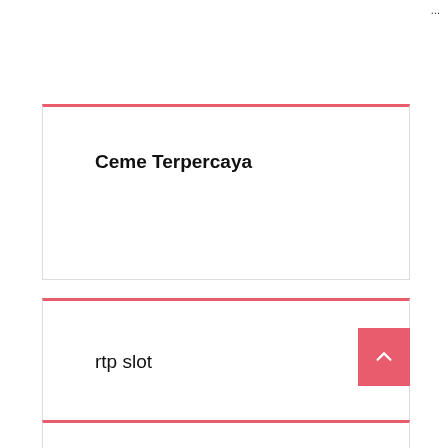...
Ceme Terpercaya
rtp slot
...